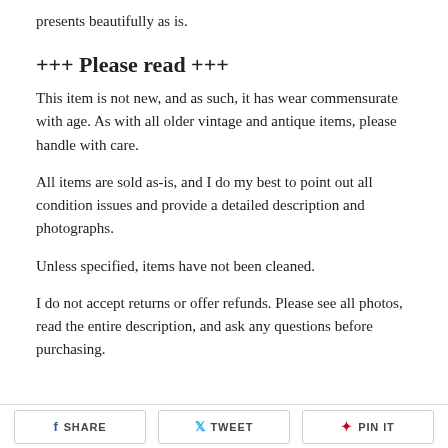presents beautifully as is.
+++ Please read +++
This item is not new, and as such, it has wear commensurate with age. As with all older vintage and antique items, please handle with care.
All items are sold as-is, and I do my best to point out all condition issues and provide a detailed description and photographs.
Unless specified, items have not been cleaned.
I do not accept returns or offer refunds. Please see all photos, read the entire description, and ask any questions before purchasing.
SHARE   TWEET   PIN IT